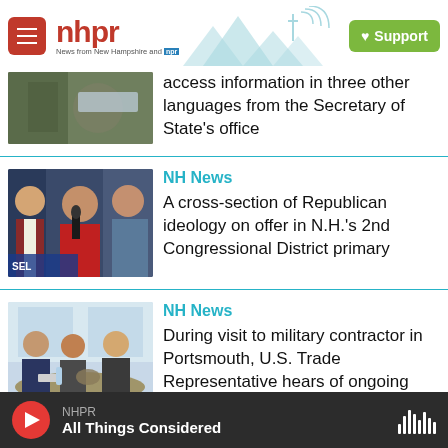nhpr — News from New Hampshire and NPR | Support
access information in three other languages from the Secretary of State's office
NH News
A cross-section of Republican ideology on offer in N.H.'s 2nd Congressional District primary
NH News
During visit to military contractor in Portsmouth, U.S. Trade Representative hears of ongoing supply chain disruptions
NHPR — All Things Considered